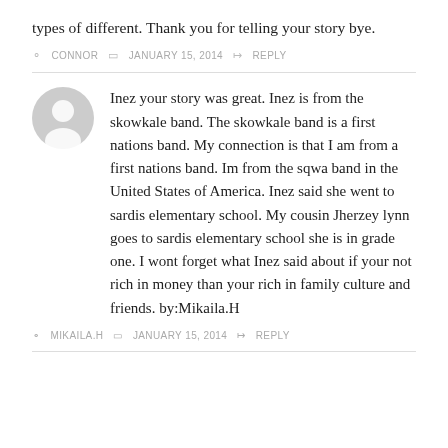types of different. Thank you for telling your story bye.
CONNOR  JANUARY 15, 2014  REPLY
Inez your story was great. Inez is from the skowkale band. The skowkale band is a first nations band. My connection is that I am from a first nations band. Im from the sqwa band in the United States of America. Inez said she went to sardis elementary school. My cousin Jherzey lynn goes to sardis elementary school she is in grade one. I wont forget what Inez said about if your not rich in money than your rich in family culture and friends. by:Mikaila.H
MIKAILA.H  JANUARY 15, 2014  REPLY